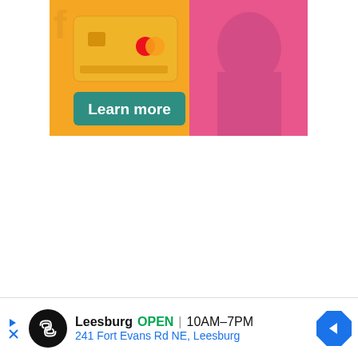[Figure (illustration): Advertisement banner showing a credit/debit card with a person wearing a pink sweater on a yellow background, with a teal 'Learn more' button]
[Figure (illustration): Advertisement for Leesburg store: black circle logo with infinity-like symbol, text 'Leesburg OPEN | 10AM-7PM' and '241 Fort Evans Rd NE, Leesburg', blue diamond arrow icon on right, with skip/close controls on left]